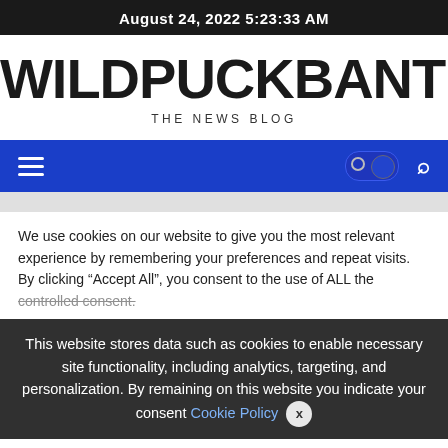August 24, 2022 5:23:33 AM
WILDPUCKBANTER.COM
THE NEWS BLOG
[Figure (screenshot): Navigation bar with hamburger menu, dark/light mode toggle, and search icon on blue background]
We use cookies on our website to give you the most relevant experience by remembering your preferences and repeat visits. By clicking "Accept All", you consent to the use of ALL the controlled consent.
This website stores data such as cookies to enable necessary site functionality, including analytics, targeting, and personalization. By remaining on this website you indicate your consent Cookie Policy ✕